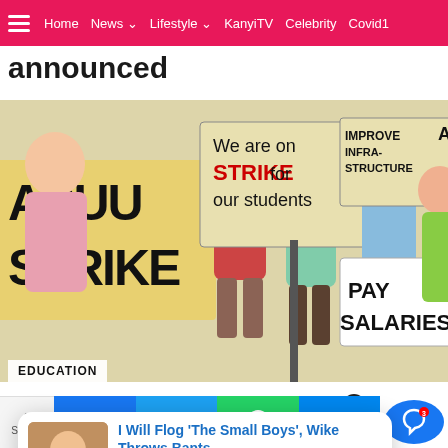Home  News  Lifestyle  KanyiTV  Celebrity  Covid1
announced
[Figure (illustration): Cartoon illustration of ASUU strike protesters holding signs that read 'ASUU STRIKE', 'We are on STRIKE for our students', 'IMPROVE INFRASTRUCTURE', and 'PAY SALARIES'. Multiple animated characters marching and protesting.]
EDUCATION
ASUU Extends Strike By 12 Weeks
[Figure (photo): Thumbnail photo of a man sitting, appears to be in an interview setting]
I Will Flog 'The Small Boys', Wike Throws Bants
9 hours ago
Shares  Facebook  Twitter  WhatsApp  Messenger